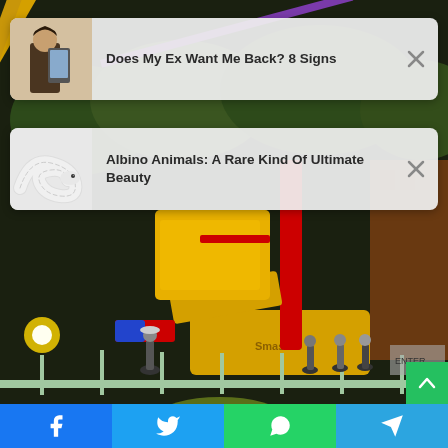[Figure (photo): Background photo of a fairground/carnival ride at night with yellow mechanical ride, people watching, trees in background, emergency vehicle with lights]
Does My Ex Want Me Back? 8 Signs
Albino Animals: A Rare Kind Of Ultimate Beauty
[Figure (screenshot): Social share bar at bottom with Facebook, Twitter, WhatsApp, and Telegram buttons]